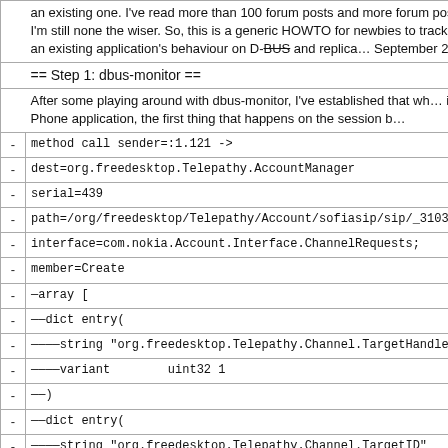an existing one. I've read more than 100 forum posts and more forum posts and I'm still none the wiser. So, this is a generic HOWTO for newbies to track down an existing application's behaviour on D-BUS and replicate it. September 2010.
== Step 1: dbus-monitor ==
After some playing around with dbus-monitor, I've established that when I open the inbuilt Phone application, the first thing that happens on the session bus is:
method call sender=:1.121 ->
dest=org.freedesktop.Telepathy.AccountManager
serial=439
path=/org/freedesktop/Telepathy/Account/sofiasip/sip/_31030137_40
interface=com.nokia.Account.Interface.ChannelRequests;
member=Create
—array [
——dict entry(
————string "org.freedesktop.Telepathy.Channel.TargetHandleType"
————variant        uint32 1
——)
——dict entry(
————string "org.freedesktop.Telepathy.Channel.TargetID"